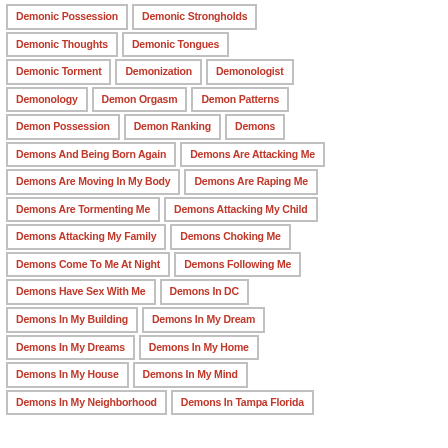Demonic Possession
Demonic Strongholds
Demonic Thoughts
Demonic Tongues
Demonic Torment
Demonization
Demonologist
Demonology
Demon Orgasm
Demon Patterns
Demon Possession
Demon Ranking
Demons
Demons And Being Born Again
Demons Are Attacking Me
Demons Are Moving In My Body
Demons Are Raping Me
Demons Are Tormenting Me
Demons Attacking My Child
Demons Attacking My Family
Demons Choking Me
Demons Come To Me At Night
Demons Following Me
Demons Have Sex With Me
Demons In DC
Demons In My Building
Demons In My Dream
Demons In My Dreams
Demons In My Home
Demons In My House
Demons In My Mind
Demons In My Neighborhood
Demons In Tampa Florida